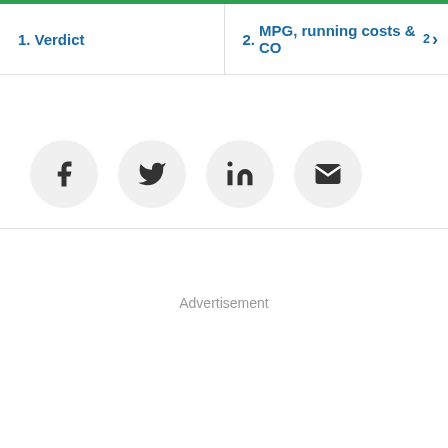1. Verdict | 2. MPG, running costs & CO2 ›
[Figure (other): Social sharing buttons: Facebook, Twitter, LinkedIn, Email]
Advertisement